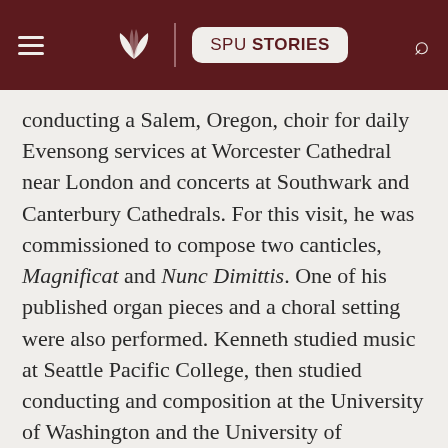SPU STORIES
conducting a Salem, Oregon, choir for daily Evensong services at Worcester Cathedral near London and concerts at Southwark and Canterbury Cathedrals. For this visit, he was commissioned to compose two canticles, Magnificat and Nunc Dimittis. One of his published organ pieces and a choral setting were also performed. Kenneth studied music at Seattle Pacific College, then studied conducting and composition at the University of Washington and the University of Southern California. In 2012, he left a 25-year church position in Bellevue, Washington, to focus on